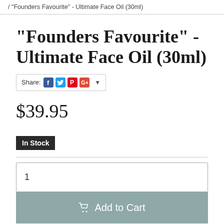/ "Founders Favourite" - Ultimate Face Oil (30ml)
"Founders Favourite" - Ultimate Face Oil (30ml)
Share:
$39.95
In Stock
1
Add to Cart